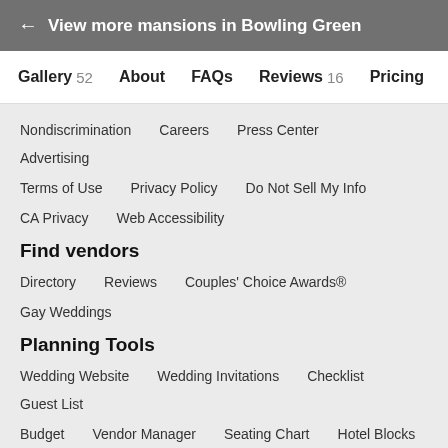← View more mansions in Bowling Green
Gallery 52   About   FAQs   Reviews 16   Pricing
Nondiscrimination
Careers
Press Center
Advertising
Terms of Use
Privacy Policy
Do Not Sell My Info
CA Privacy
Web Accessibility
Find vendors
Directory
Reviews
Couples' Choice Awards®
Gay Weddings
Planning Tools
Wedding Website
Wedding Invitations
Checklist
Guest List
Budget
Vendor Manager
Seating Chart
Hotel Blocks
Cost Guide
Help